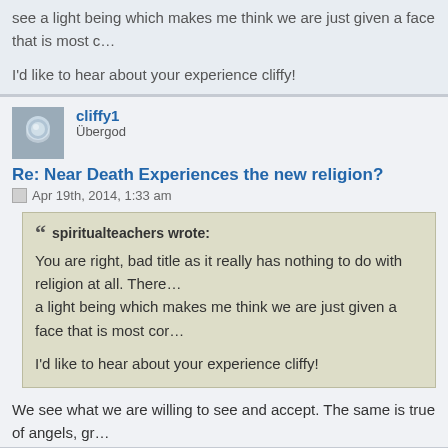see a light being which makes me think we are just given a face that is most c…
I'd like to hear about your experience cliffy!
cliffy1
Übergod
Re: Near Death Experiences the new religion?
Apr 19th, 2014, 1:33 am
spiritualteachers wrote: You are right, bad title as it really has nothing to do with religion at all. There… a light being which makes me think we are just given a face that is most cor… I'd like to hear about your experience cliffy!
We see what we are willing to see and accept. The same is true of angels, gr… in death.
I did not see anyone when I flat lined. I was at peace, there was no pain but I… back to my body. This happened twice, one after being hit by a logging truck c… to come back. I've also been poisoned twice.